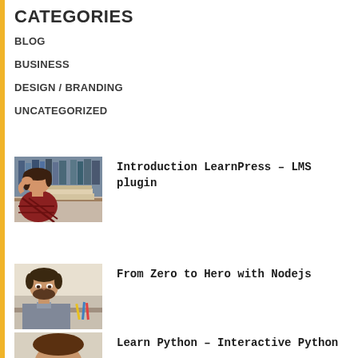CATEGORIES
BLOG
BUSINESS
DESIGN / BRANDING
UNCATEGORIZED
[Figure (photo): Student with head in hands over books in library]
Introduction LearnPress – LMS plugin
[Figure (photo): Young man studying at desk]
From Zero to Hero with Nodejs
[Figure (photo): Person studying, partially visible]
Learn Python – Interactive Python